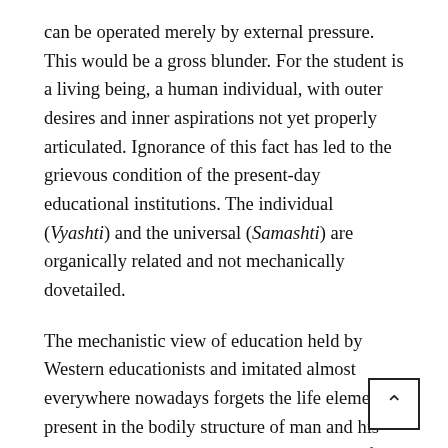can be operated merely by external pressure. This would be a gross blunder. For the student is a living being, a human individual, with outer desires and inner aspirations not yet properly articulated. Ignorance of this fact has led to the grievous condition of the present-day educational institutions. The individual (Vyashti) and the universal (Samashti) are organically related and not mechanically dovetailed.
The mechanistic view of education held by Western educationists and imitated almost everywhere nowadays forgets the life element present in the bodily structure of man and his environment. Education has concern with life, mind and intellect and the theory that these are exudations from the bodily mechanism is the erroneous knowledge imported from Western psychologists. The individual,